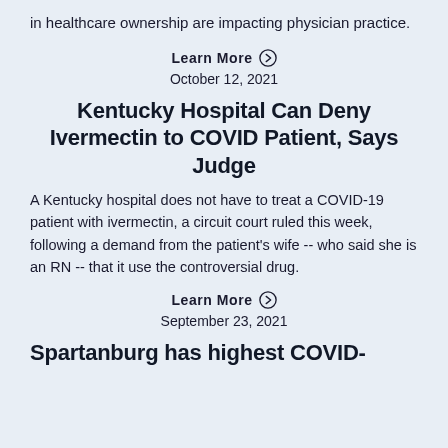in healthcare ownership are impacting physician practice.
Learn More ›
October 12, 2021
Kentucky Hospital Can Deny Ivermectin to COVID Patient, Says Judge
A Kentucky hospital does not have to treat a COVID-19 patient with ivermectin, a circuit court ruled this week, following a demand from the patient's wife -- who said she is an RN -- that it use the controversial drug.
Learn More ›
September 23, 2021
Spartanburg has highest COVID-